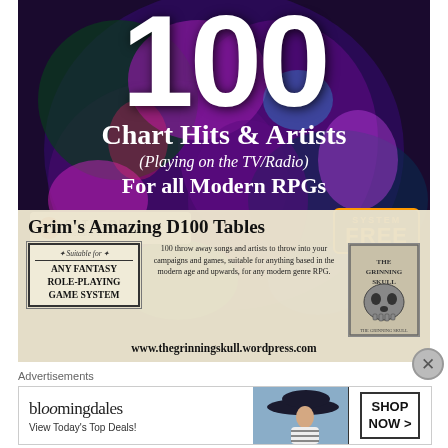[Figure (illustration): Main advertisement for '100 Chart Hits & Artists (Playing on the TV/Radio) For all Modern RPGs' by Grim's Amazing D100 Tables / The Grinning Skull. Dark psychedelic background with large white '100', Patreon badge, System Free badge, skull image, suitable for any fantasy role-playing game system box, description text, and website URL.]
Advertisements
[Figure (illustration): Bloomingdale's advertisement: 'bloomingdales View Today's Top Deals!' with model in blue hat, and 'SHOP NOW >' button.]